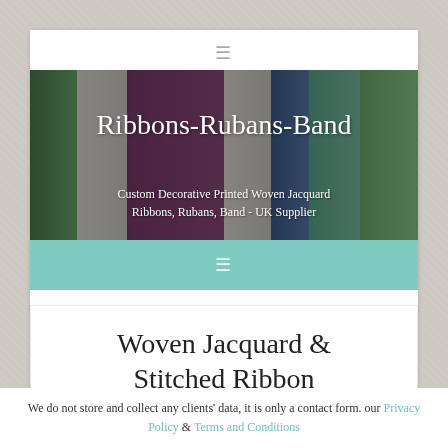[Figure (screenshot): Website screenshot of Ribbons-Rubans-Band, a UK supplier of custom decorative printed woven jacquard ribbons. Shows a hero banner with ribbon textures, site title, subtitle, and a teal navigation bar with hamburger menu icons.]
Woven Jacquard & Stitched Ribbon
We do not store and collect any clients' data, it is only a contact form. our Privacy Policy & Terms and Conditions